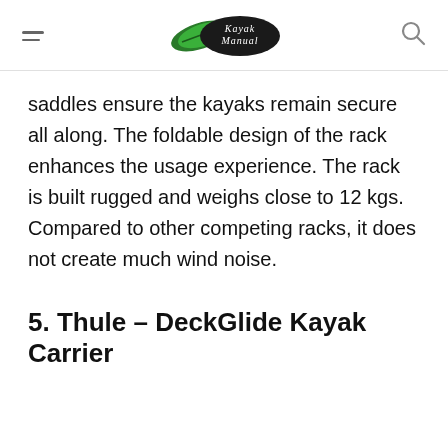Kayak Manual
saddles ensure the kayaks remain secure all along. The foldable design of the rack enhances the usage experience. The rack is built rugged and weighs close to 12 kgs. Compared to other competing racks, it does not create much wind noise.
5. Thule – DeckGlide Kayak Carrier